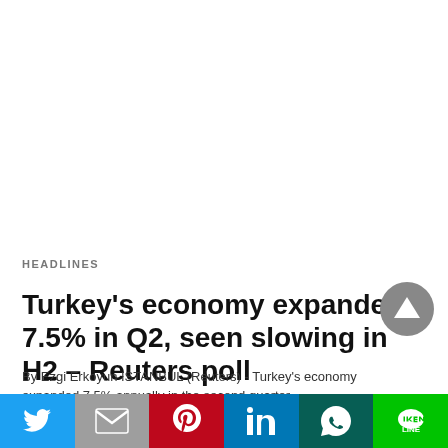HEADLINES
Turkey's economy expanded 7.5% in Q2, seen slowing in H2 – Reuters poll
By Ezgi Erkoyun ISTANBUL (Reuters) - Turkey's economy expanded 7.5% annually in the second quarter…
12 hours ago